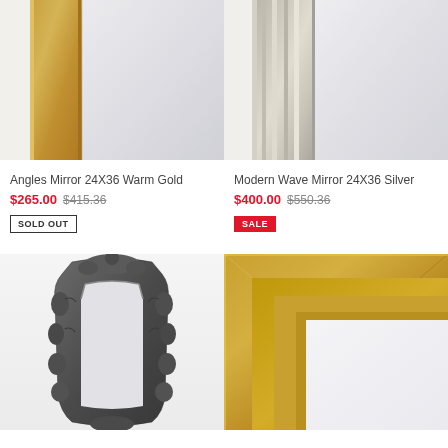[Figure (photo): Angles Mirror 24X36 Warm Gold - rectangular mirror with warm gold frame, close-up corner view]
Angles Mirror 24X36 Warm Gold
$265.00  $415.36
SOLD OUT
[Figure (photo): Modern Wave Mirror 24X36 Silver - rectangular mirror with silver/natural wood frame, close-up corner view]
Modern Wave Mirror 24X36 Silver
$400.00  $550.36
SALE
[Figure (photo): Ornate baroque style mirror with dark silver/pewter heavily decorated frame, full length floor mirror]
[Figure (photo): Mirror with wide gold/antique gold layered frame, close-up corner view]